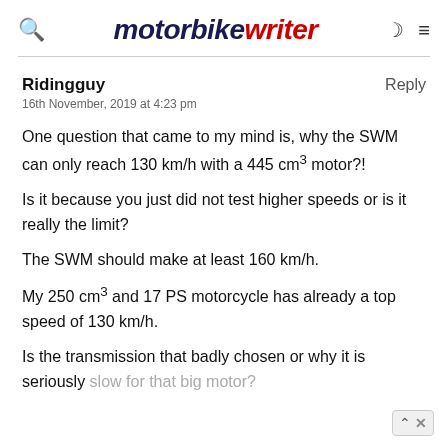motorbike writer
Ridingguy
16th November, 2019 at 4:23 pm

One question that came to my mind is, why the SWM can only reach 130 km/h with a 445 cm³ motor?!
Is it because you just did not test higher speeds or is it really the limit?
The SWM should make at least 160 km/h.
My 250 cm³ and 17 PS motorcycle has already a top speed of 130 km/h.

Is the transmission that badly chosen or why it is seriously slow for that big motor?